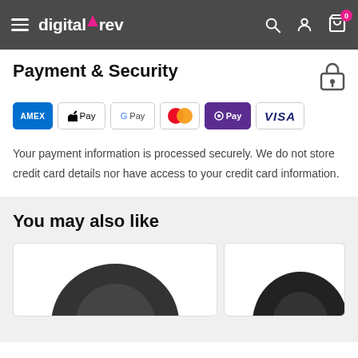digitalrev — navigation bar with hamburger menu, logo, search, account, and cart icons
Payment & Security
[Figure (infographic): Payment method badges: AMEX, Apple Pay, Google Pay, Mastercard, OPay, VISA]
Your payment information is processed securely. We do not store credit card details nor have access to your credit card information.
You may also like
[Figure (photo): Product thumbnails in product cards below 'You may also like' section]